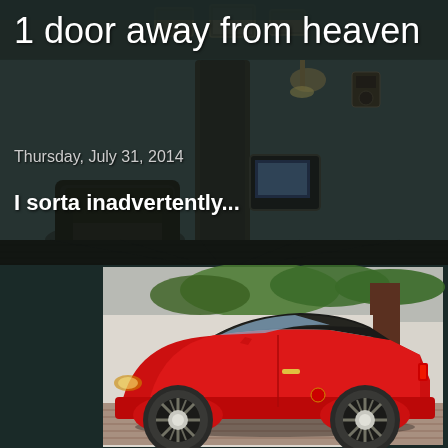1 door away from heaven
Thursday, July 31, 2014
I sorta inadvertently...
[Figure (photo): Background: dark moody room interior with leather armchair, old television, framed pictures on wall, telephone, wooden floor boards]
[Figure (photo): Red Nissan 350Z roadster convertible sports car with black soft top, silver alloy wheels, parked on brick pavement in front of white wall with green ivy]